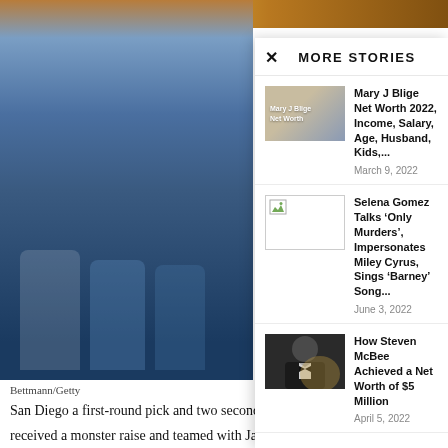[Figure (photo): Background photo of football players in uniforms on field, partially visible behind overlay panel]
Bettmann/Getty
John Jefferson
becoming the f
The All-Pro wi
contract and re
Jefferson to th
San Diego a first-round pick and two seconds for the 25-year-old star, who received a monster raise and teamed with James
MORE STORIES
[Figure (photo): Thumbnail image for Mary J Blige Net Worth article showing Mary J Blige with text overlay on colored background]
Mary J Blige Net Worth 2022, Income, Salary, Age, Husband, Kids,...
March 9, 2022
[Figure (photo): Broken/missing image thumbnail for Selena Gomez article]
Selena Gomez Talks ‘Only Murders’, Impersonates Miley Cyrus, Sings ‘Barney’ Song...
June 3, 2022
[Figure (photo): Thumbnail photo of Steven McBee in tuxedo]
How Steven McBee Achieved a Net Worth of $5 Million
April 5, 2022